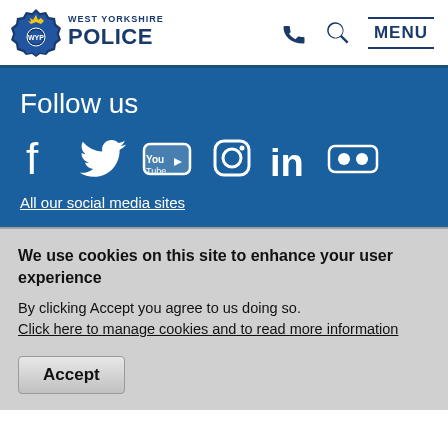West Yorkshire Police — MENU
Follow us
[Figure (logo): Social media icons: Facebook, Twitter, YouTube, Instagram, LinkedIn, Flickr]
All our social media sites
We use cookies on this site to enhance your user experience
By clicking Accept you agree to us doing so. Click here to manage cookies and to read more information
Accept